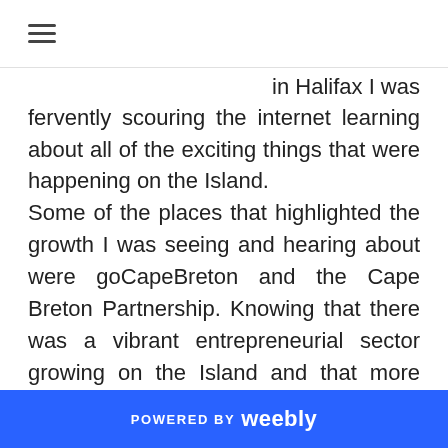≡
in Halifax I was fervently scouring the internet learning about all of the exciting things that were happening on the Island. Some of the places that highlighted the growth I was seeing and hearing about were goCapeBreton and the Cape Breton Partnership. Knowing that there was a vibrant entrepreneurial sector growing on the Island and that more young people were choosing to move home to raise their families or start their business made the
POWERED BY weebly